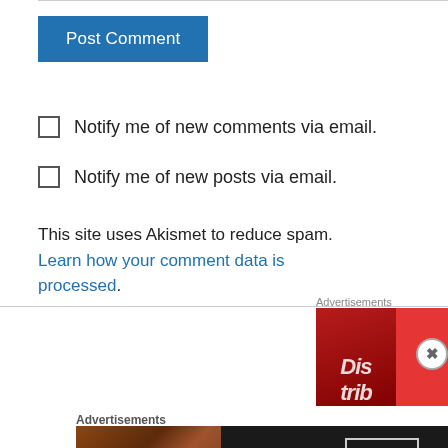Post Comment
Notify me of new comments via email.
Notify me of new posts via email.
This site uses Akismet to reduce spam. Learn how your comment data is processed.
Advertisements
[Figure (infographic): Red advertisement banner for a music app showing a phone with Distrib app and text 'An app by listeners, for listeners.']
Advertisements
[Figure (infographic): Dark advertisement banner for Seamless food delivery showing pizza slices, Seamless logo, and 'ORDER NOW' button]